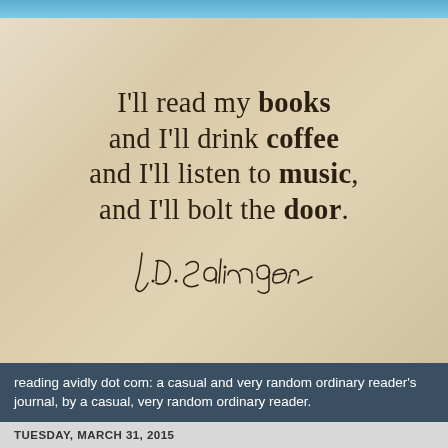[Figure (photo): Aged parchment background with blue sky strip at top, displaying a J.D. Salinger quote in serif text followed by a handwritten-style signature.]
I'll read my books and I'll drink coffee and I'll listen to music, and I'll bolt the door. — J.D. Salinger
reading avidly dot com: a casual and very random ordinary reader's journal, by a casual, very random ordinary reader.
TUESDAY, MARCH 31, 2015